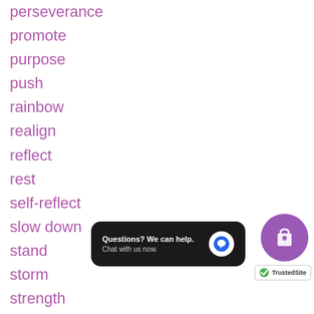perseverance
promote
purpose
push
rainbow
realign
reflect
rest
self-reflect
slow down
stand
storm
strength
support
toot toot
[Figure (infographic): Chat widget overlay: dark rounded rectangle with text 'Questions? We can help. Chat with us now.' and a blue chat bubble icon]
[Figure (infographic): Purple circle shopping bag icon with heart]
[Figure (logo): TrustedSite badge with green checkmark]